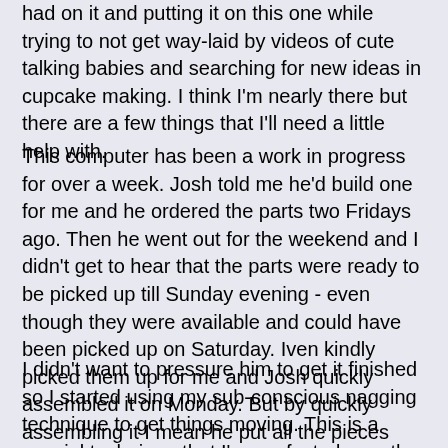had on it and putting it on this one while trying to not get way-laid by videos of cute talking babies and searching for new ideas in cupcake making. I think I'm nearly there but there are a few things that I'll need a little help with.
This computer has been a work in progress for over a week. Josh told me he'd build one for me and he ordered the parts two Fridays ago. Then he went out for the weekend and I didn't get to hear that the parts were ready to be picked up till Sunday evening - even though they were available and could have been picked up on Saturday. Iven kindly picked them up for me and Josh quickly assembled it on Monday. But by quickly assembling it I mean he put all the pieces together in the case and it sat on the floor of his bedroom unable to be used for the best part of a week.
I didn't want to pressure him to get it finished so I started using my sub-conscious nagging technique to get things moving. This is a special technique that I've perfected over the years where you do lots of nice things for the person. Then you throw in a few choice words like 'computer' over and over in conversation. You even go into their rooms when